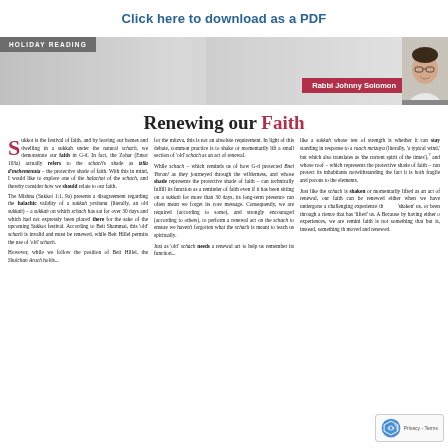Click here to download as a PDF
[Figure (photo): Banner with 'HOLIDAY READING' label on gray gradient background, author name 'Rabbi Johnny Solomon' on pink/crimson bar, and a photo of Rabbi Johnny Solomon on the right]
Renewing our Faith
Sukkot is the festival of faith, and by leaving our homes and dwelling in a sukkah under the natural schach, we demonstrate our faith in G-d. In fact, the Zohar (Emor 103a) actually refers to the schach's shade as tzila d'mehemenuta – the protective shade of faith. With this in mind, I would like to explore one of the halachot of the schach, and thereby consider how we should relate to our faith. The Mishna (Sukkot 1:1, 9a) presents a disagreement regarding the halachic validity of a sukkah yeshana (literally, an old sukkah) – a sukkah on which schach has sat for over 30 days and which had not expressly been placed there for the sake of the upcoming Sukkot festival. According to Beit Shammai, this 'old' schach is invalid and must be renewed, while Beit Hillel permits the use of 'old' schach. However, while we follow the position of Beit Hillel, the Shulchan Aruch holds...
for the mitzva, this is not an absolute requirement. In light of this debate, common practice is to shake or momentarily lift a small section of 'old' schach as an act of renewal. While schach – which reminds us of how G-d protected Bnei Yisrael as they journeyed through the wilderness, and whose shade represents the protective shade of faith – can technically fulfill its function as a reminder of faith even if it has been sitting on a sukkah for more than 30 days, its long-term presence can often mean we forget its core message. Consequently, we are required (according to some), and strongly encouraged (according to others), to perform a renewal act on the schach to ensure we haven't forgotten what the schach is meant to teach us spiritually. Just as 'old' schach needs a renewal act to help us remember its function...
like a sukkah whose test of strength is whether it can stay standing in response to a ruach metzuya (literally, 'a typical wind,' but which also translates as 'the current spirit of the times'),7 and whose roof – which represents the protective shade of faith – can protect its inhabitants notwithstanding the fact it is both fragile and porous to the elements. Just like the schach is shaken or momentarily lifted as an act of renewal, our faith can be renewed either when we have undergone a challenging experience that has 'shaken' us, or been through a joyful experience that has 'lifted' us. And because by having either of these experiences, we are reminded that faith is not something that is static, but is, instead, something that is being moved and renewed.